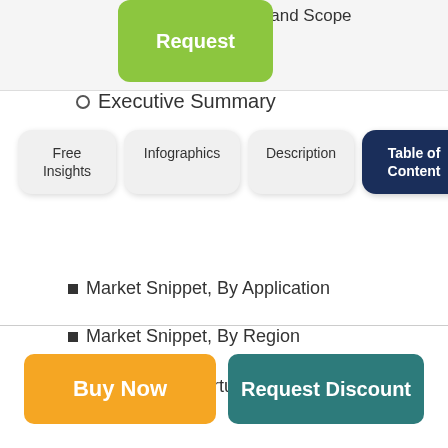Market Definition and Scope
Executive Summary
[Figure (other): Navigation tab bar with four tabs: Free Insights, Infographics, Description, Table of Content (active/selected in dark navy)]
Market Snippet, By Application
Market Snippet, By Region
Coherent Opportunity Map (COM)
3. Market Dynamics, Regulations, and Trends Analysis
Market Dynamics
Buy Now
Request Discount